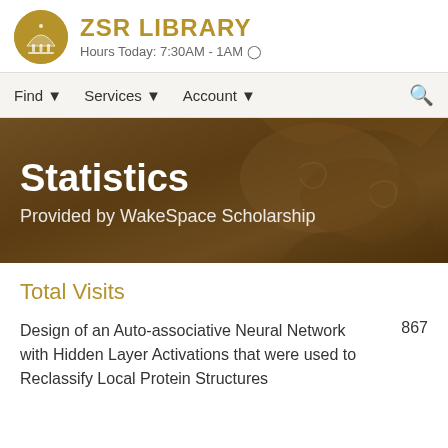ZSR LIBRARY — Hours Today: 7:30AM - 1AM
[Figure (logo): ZSR Library circular gold logo with building/dome motif]
ZSR LIBRARY
Hours Today: 7:30AM - 1AM
Find ▾   Services ▾   Account ▾
[Figure (photo): Sepia-toned photo of classical stone architectural detail with draped figures]
Statistics
Provided by WakeSpace Scholarship
Total Visits
Design of an Auto-associative Neural Network with Hidden Layer Activations that were used to Reclassify Local Protein Structures
867